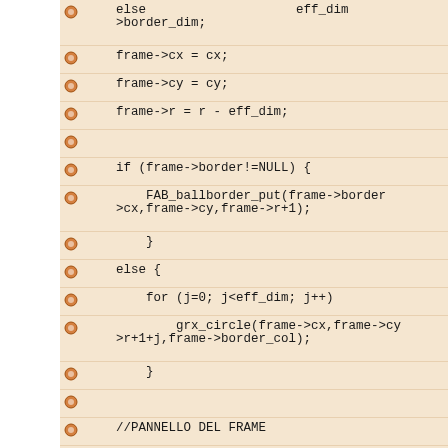Code listing showing C source code with lines: else eff_dim->border_dim; frame->cx = cx; frame->cy = cy; frame->r = r - eff_dim; if (frame->border!=NULL) { FAB_ballborder_put(frame->border->cx,frame->cy,frame->r+1); } else { for (j=0; j<eff_dim; j++) grx_circle(frame->cx,frame->cy->r+1+j,frame->border_col); } //PANNELLO DEL FRAME if (!frame->trasparent) { grx_disc(frame->cx,frame->cy,frame->color); } } void FAB_image_copy(FAB_IMAGE* orig_i dest_image)